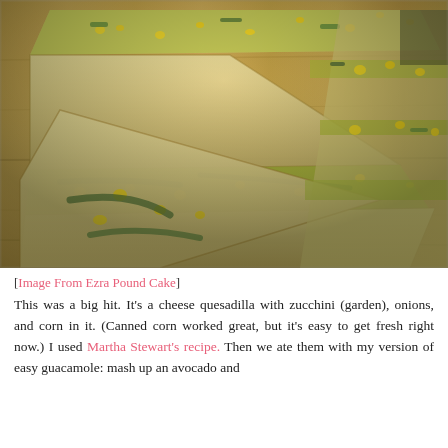[Figure (photo): Stack of cheese quesadilla wedges with zucchini, corn, and onions, cut into triangles and stacked on a wooden cutting board. The filling is visible showing yellow corn kernels and green zucchini strips.]
[Image From Ezra Pound Cake]
This was a big hit. It's a cheese quesadilla with zucchini (garden), onions, and corn in it. (Canned corn worked great, but it's easy to get fresh right now.) I used Martha Stewart's recipe. Then we ate them with my version of easy guacamole: mash up an avocado and